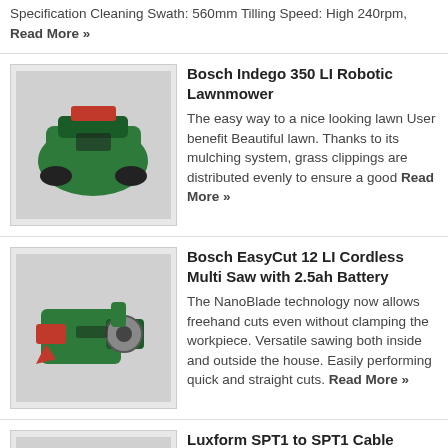Specification Cleaning Swath: 560mm Tilling Speed: High 240rpm, Read More »
Bosch Indego 350 LI Robotic Lawnmower
[Figure (photo): Bosch Indego 350 LI Robotic Lawnmower product image]
The easy way to a nice looking lawn User benefit Beautiful lawn. Thanks to its mulching system, grass clippings are distributed evenly to ensure a good Read More »
Bosch EasyCut 12 LI Cordless Multi Saw with 2.5ah Battery
[Figure (photo): Bosch EasyCut 12 LI Cordless Multi Saw product image]
The NanoBlade technology now allows freehand cuts even without clamping the workpiece. Versatile sawing both inside and outside the house. Easily performing quick and straight cuts. Read More »
Luxform SPT1 to SPT1 Cable Connector (2 Pack)
[Figure (photo): Luxform SPT1 to SPT1 Cable Connector product image]
Luxform offer a wide range of accessories, such as timers, extension cables, deck mounts and bulbs. Read More »